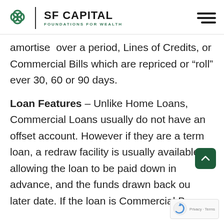SF CAPITAL | FOUNDATIONS FOR WEALTH
amortise over a period, Lines of Credits, or Commercial Bills which are repriced or "roll" ever 30, 60 or 90 days.
Loan Features – Unlike Home Loans, Commercial Loans usually do not have an offset account. However if they are a term loan, a redraw facility is usually available allowing the loan to be paid down in advance, and the funds drawn back out at a later date. If the loan is Commercial B...